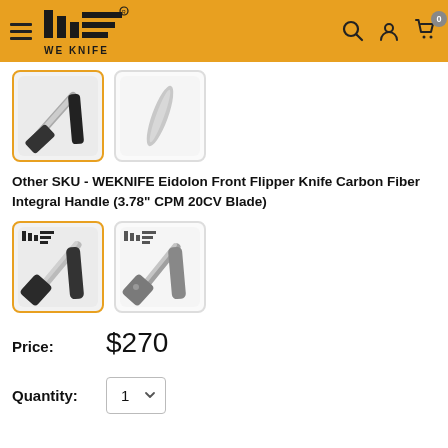[Figure (screenshot): WE KNIFE website header with logo, hamburger menu, search, account, and cart icons on golden/amber background]
[Figure (photo): Two product thumbnail images of knives (top row) - first with orange border showing front flipper knife open and closed, second showing blade detail]
Other SKU - WEKNIFE Eidolon Front Flipper Knife Carbon Fiber Integral Handle (3.78" CPM 20CV Blade)
[Figure (photo): Two product thumbnail images of knives (bottom row) - first with orange border showing carbon fiber handle knife, second showing gray/titanium version]
Price: $270
Quantity: 1